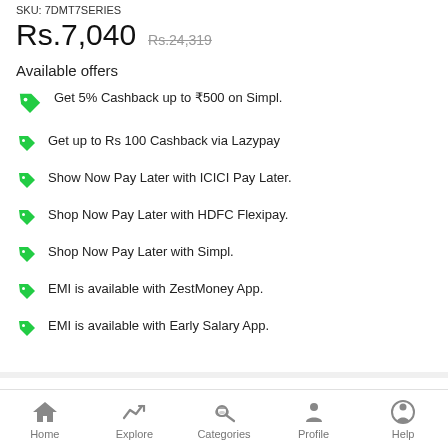SKU: 7DMT7SERIES
Rs.7,040  Rs.24,319
Available offers
Get 5% Cashback up to ₹500 on Simpl.
Get up to Rs 100 Cashback via Lazypay
Show Now Pay Later with ICICI Pay Later.
Shop Now Pay Later with HDFC Flexipay.
Shop Now Pay Later with Simpl.
EMI is available with ZestMoney App.
EMI is available with Early Salary App.
Product Highlights
7 Depth layer protection for car interior
Home  Explore  Categories  Profile  Help